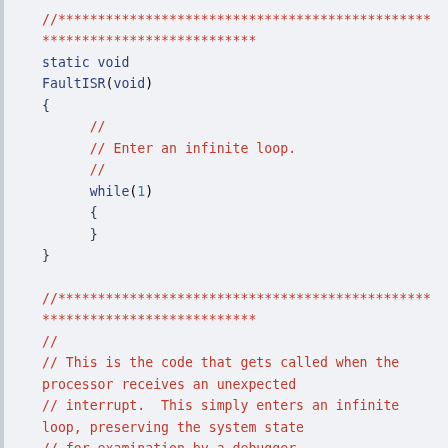//***********************************************
// static void FaultISR(void)
// {
//     //
//     // Enter an infinite loop.
//     //
//     while(1)
//     {
//     }
// }
//
//***********************************************
//
// This is the code that gets called when the processor receives an unexpected
// interrupt.  This simply enters an infinite loop, preserving the system state
// for examination by a debugger.
//